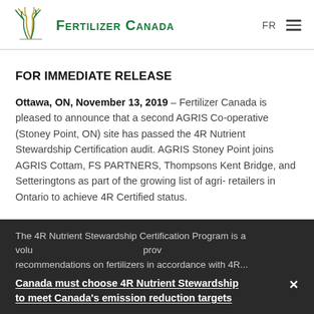Fertilizer Canada
FOR IMMEDIATE RELEASE
Ottawa, ON, November 13, 2019 – Fertilizer Canada is pleased to announce that a second AGRIS Co-operative (Stoney Point, ON) site has passed the 4R Nutrient Stewardship Certification audit. AGRIS Stoney Point joins AGRIS Cottam, FS PARTNERS, Thompsons Kent Bridge, and Setteringtons as part of the growing list of agri-retailers in Ontario to achieve 4R Certified status.
The 4R Nutrient Stewardship Certification Program is a volu... prov... recommendations on fertilizers in accordance with 4R...
Canada must choose 4R Nutrient Stewardship to meet Canada's emission reduction targets